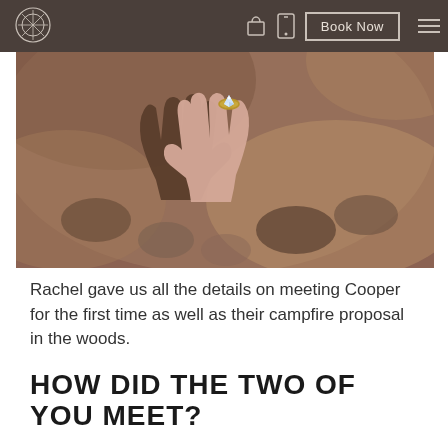Book Now
[Figure (photo): Close-up photo of two hands holding each other, one hand wearing a diamond engagement ring with a gold band, taken outdoors with blurred rocky background]
Rachel gave us all the details on meeting Cooper for the first time as well as their campfire proposal in the woods.
HOW DID THE TWO OF YOU MEET?
We met through a mutual friend and I truly believe it was love at first conversation. He was so polite, kind, funny, and genuine. It wasn't long until I was head over heels.